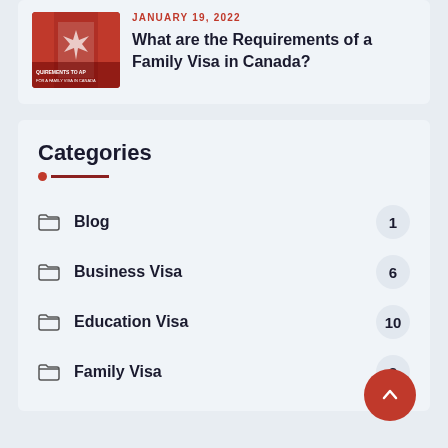JANUARY 19, 2022
What are the Requirements of a Family Visa in Canada?
Categories
Blog — 1
Business Visa — 6
Education Visa — 10
Family Visa — 2